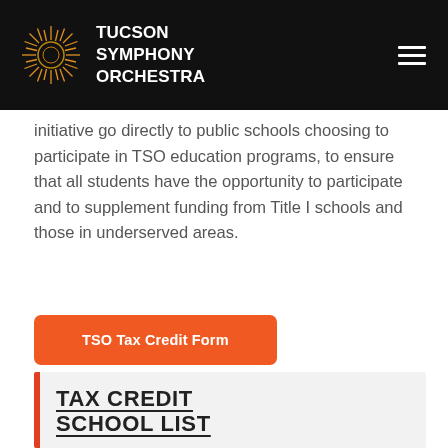[Figure (logo): Tucson Symphony Orchestra logo with golden radial circle and white text]
initiative go directly to public schools choosing to participate in TSO education programs, to ensure that all students have the opportunity to participate and to supplement funding from Title I schools and those in underserved areas.
TSO Tax Credit Form
TAX CREDIT SCHOOL LIST